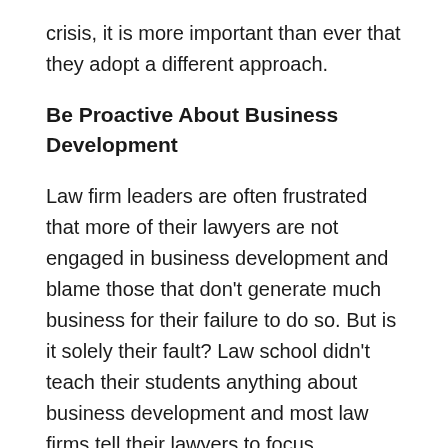crisis, it is more important than ever that they adopt a different approach.
Be Proactive About Business Development
Law firm leaders are often frustrated that more of their lawyers are not engaged in business development and blame those that don't generate much business for their failure to do so. But is it solely their fault? Law school didn't teach their students anything about business development and most law firms tell their lawyers to focus